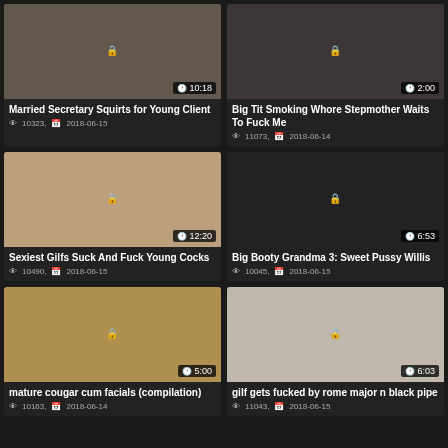[Figure (screenshot): Video thumbnail grid - adult video listing page with 6 video cards in 2 columns]
Married Secretary Squirts for Young Client
10323, 2018-06-15
Big Tit Smoking Whore Stepmother Waits To Fuck Me
11073, 2018-06-14
Sexiest Gilfs Suck And Fuck Young Cocks
10490, 2018-06-15
Big Booty Grandma 3: Sweet Pussy Willis
10045, 2018-06-15
mature cougar cum facials (compilation)
10163, 2018-06-14
gilf gets fucked by rome major n black pipe
11043, 2018-06-15